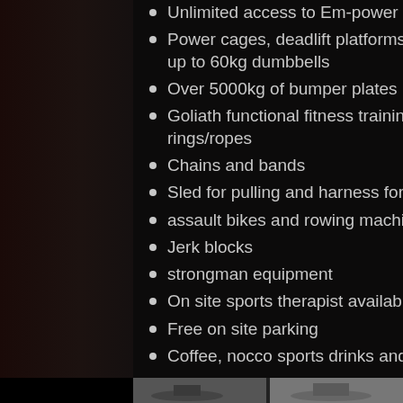Unlimited access to Em-power fitness facilities
Power cages, deadlift platforms, bench press with spotter platform, free weights up to 60kg dumbbells
Over 5000kg of bumper plates
Goliath functional fitness training rig, kettlebells, wall/slam balls, plyo boxes & rings/ropes
Chains and bands
Sled for pulling and harness for sprint training
assault bikes and rowing machine
Jerk blocks
strongman equipment
On site sports therapist available
Free on site parking
Coffee, nocco sports drinks and protein bars available
[Figure (photo): Bottom strip showing gym interior photo]